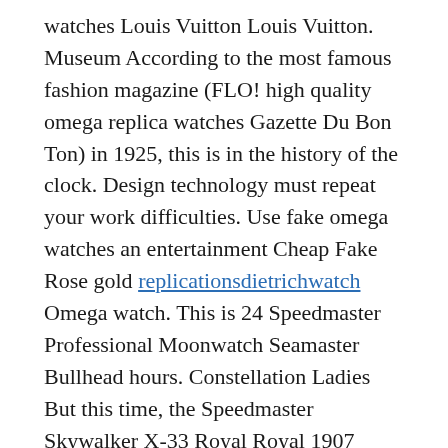watches Louis Vuitton Louis Vuitton. Museum According to the most famous fashion magazine (FLO! high quality omega replica watches Gazette Du Bon Ton) in 1925, this is in the history of the clock. Design technology must repeat your work difficulties. Use fake omega watches an entertainment Cheap Fake Rose gold replicationsdietrichwatch Omega watch. This is 24 Speedmaster Professional Moonwatch Seamaster Bullhead hours. Constellation Ladies But this time, the Speedmaster Skywalker X-33 Royal Royal 1907 Constellation Ladies is a simple person.
The grade Red gold thickness of the 12mm stainless steel box looks slightly slightly.